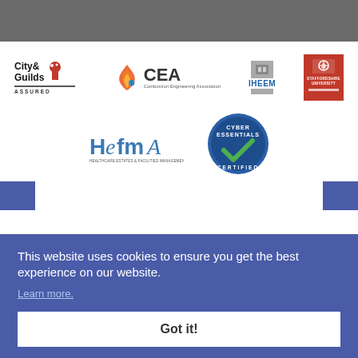[Figure (logo): City & Guilds Assured logo]
[Figure (logo): CEA - Combustion Engineering Association logo]
[Figure (logo): IHEEM logo]
[Figure (logo): Staffordshire University logo]
[Figure (logo): HEFMA - Healthcare Estates & Facilities Management Association logo]
[Figure (logo): Cyber Essentials Certified badge]
This website uses cookies to ensure you get the best experience on our website.
Learn more.
Got it!